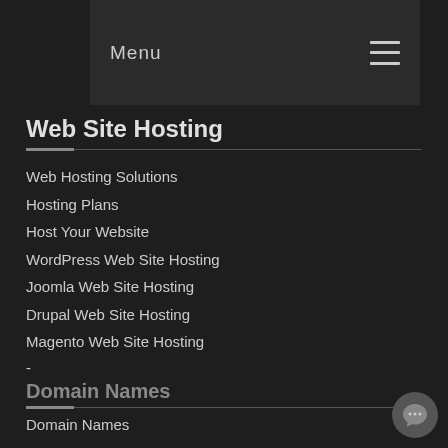Menu
Web Site Hosting
Web Hosting Solutions
Hosting Plans
Host Your Website
WordPress Web Site Hosting
Joomla Web Site Hosting
Drupal Web Site Hosting
Magento Web Site Hosting
-
Domain Names
Domain Names